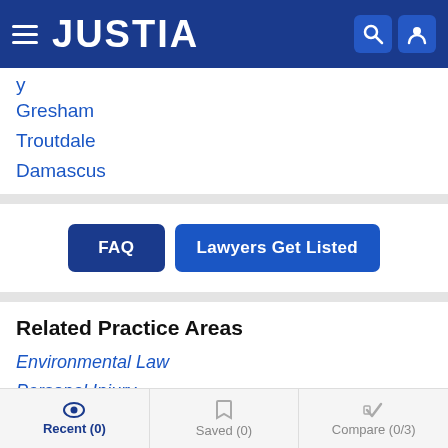JUSTIA
Gresham
Troutdale
Damascus
FAQ | Lawyers Get Listed
Related Practice Areas
Environmental Law
Personal Injury
Products Liability
Recent (0) | Saved (0) | Compare (0/3)